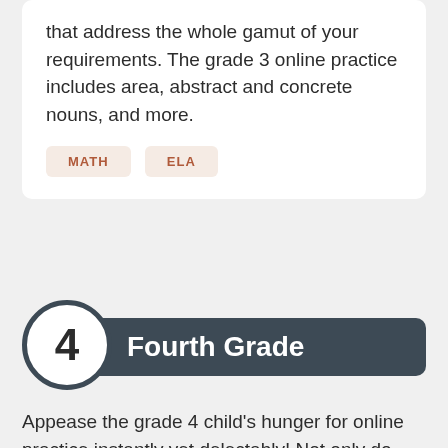that address the whole gamut of your requirements. The grade 3 online practice includes area, abstract and concrete nouns, and more.
MATH
ELA
4 Fourth Grade
Appease the grade 4 child's hunger for online practice instantly yet delectably! Not only do they answer questions in topics like finding the area and perimeter and fractions head on, they also prove